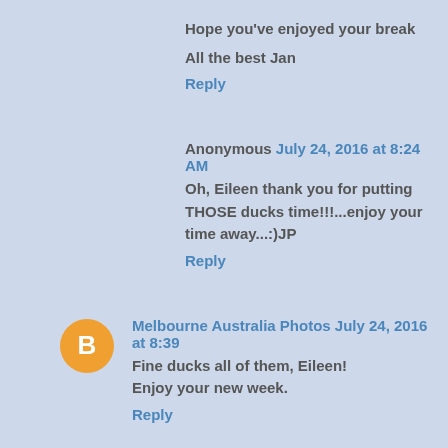Hope you've enjoyed your break

All the best Jan
Reply
Anonymous July 24, 2016 at 8:24 AM
Oh, Eileen thank you for putting THOSE ducks time!!!...enjoy your time away...:)JP
Reply
Melbourne Australia Photos July 24, 2016 at 8:39
Fine ducks all of them, Eileen!
Enjoy your new week.
Reply